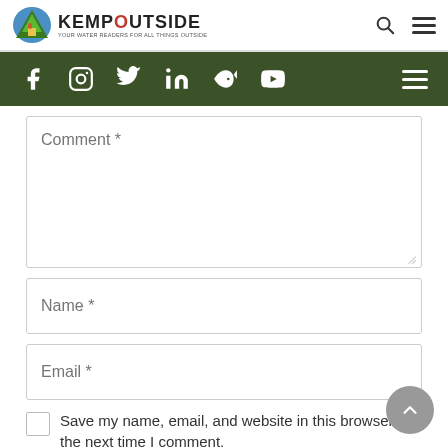KEMP OUTSIDE — website header with logo, search icon, and hamburger menu
[Figure (screenshot): Dark green social media navigation bar with Facebook, Instagram, Twitter, LinkedIn, fish icon, YouTube icons and hamburger menu on right]
Comment *
Name *
Email *
Save my name, email, and website in this browser for the next time I comment.